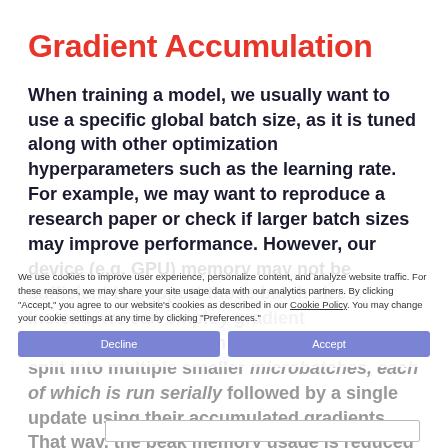Gradient Accumulation
When training a model, we usually want to use a specific global batch size, as it is tuned along with other optimization hyperparameters such as the learning rate. For example, we may want to reproduce a research paper or check if larger batch sizes may improve performance. However, our device (e.g. GPU) memory may not be sufficient to support those batch sizes. Instead, we can employ gradient accumulation, in which a single minibatch is split into multiple smaller microbatches, each of which is run serially followed by a single update using their accumulated gradients. That way, the peak memory usage is reduced to what a single microbatch requires.